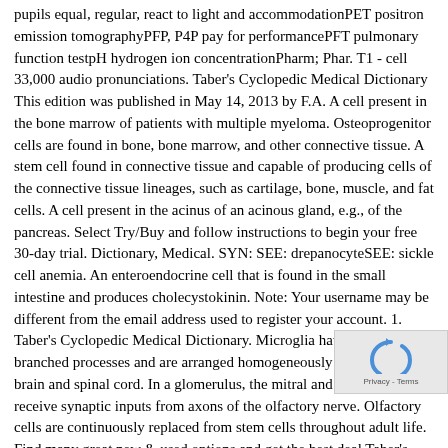pupils equal, regular, react to light and accommodationPET positron emission tomographyPFP, P4P pay for performancePFT pulmonary function testpH hydrogen ion concentrationPharm; Phar. T1 - cell 33,000 audio pronunciations. Taber's Cyclopedic Medical Dictionary This edition was published in May 14, 2013 by F.A. A cell present in the bone marrow of patients with multiple myeloma. Osteoprogenitor cells are found in bone, bone marrow, and other connective tissue. A stem cell found in connective tissue and capable of producing cells of the connective tissue lineages, such as cartilage, bone, muscle, and fat cells. A cell present in the acinus of an acinous gland, e.g., of the pancreas. Select Try/Buy and follow instructions to begin your free 30-day trial. Dictionary, Medical. SYN: SEE: drepanocyteSEE: sickle cell anemia. An enteroendocrine cell that is found in the small intestine and produces cholecystokinin. Note: Your username may be different from the email address used to register your account. 1. Taber's Cyclopedic Medical Dictionary. Microglia have spiky branched processes and are arranged homogeneously throughout the brain and spinal cord. In a glomerulus, the mitral and tufted cells receive synaptic inputs from axons of the olfactory nerve. Olfactory cells are continuously replaced from stem cells throughout adult life. Find many great new & used options and get the best deal Taber's Cyclopedic Medical Dictionary by Taber Staff (Ha at the best online prices at eBay! An enteroendocrine cell found in the small intestine and produces glucagon-like peptide-1.
[Figure (other): CAPTCHA reCAPTCHA widget overlay with rotating arrows icon and Privacy - Terms text]